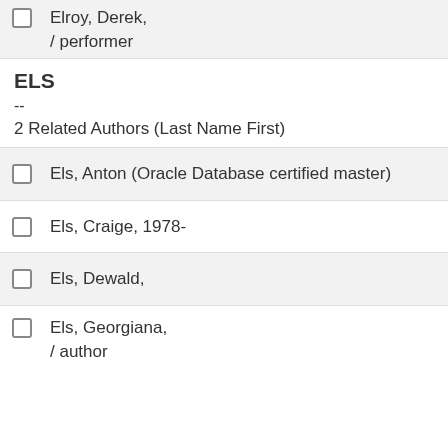Elroy, Derek,
/ performer
ELS
--
2 Related Authors (Last Name First)
Els, Anton (Oracle Database certified master)
Els, Craige, 1978-
Els, Dewald,
Els, Georgiana,
/ author